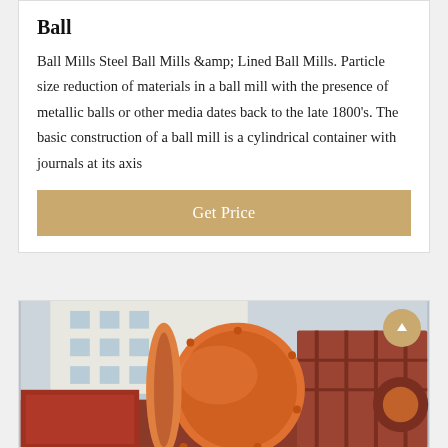Ball
Ball Mills Steel Ball Mills &amp; Lined Ball Mills. Particle size reduction of materials in a ball mill with the presence of metallic balls or other media dates back to the late 1800's. The basic construction of a ball mill is a cylindrical container with journals at its axis
Get Price
[Figure (photo): Industrial ball mill equipment (orange/rust colored cylindrical mill) loaded on a flatbed truck, with a multi-story white building visible in the background.]